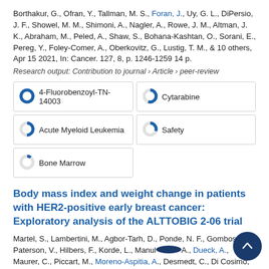Borthakur, G., Ofran, Y., Tallman, M. S., Foran, J., Uy, G. L., DiPersio, J. F., Showel, M. M., Shimoni, A., Nagler, A., Rowe, J. M., Altman, J. K., Abraham, M., Peled, A., Shaw, S., Bohana-Kashtan, O., Sorani, E., Pereg, Y., Foley-Comer, A., Oberkovitz, G., Lustig, T. M., & 10 others, Apr 15 2021, In: Cancer. 127, 8, p. 1246-1259 14 p.
Research output: Contribution to journal › Article › peer-review
[Figure (infographic): Keyword badges with donut chart indicators: 4-Fluorobenzoyl-TN-14003 (100%), Cytarabine (~55%), Acute Myeloid Leukemia (~50%), Safety (~30%), Bone Marrow (~10%)]
Body mass index and weight change in patients with HER2-positive early breast cancer: Exploratory analysis of the ALTTOBIG 2-06 trial
Martel, S., Lambertini, M., Agbor-Tarh, D., Ponde, N. F., Gombos, A., Paterson, V., Hilbers, F., Korde, L., Manulet A., Dueck, A., Maurer, C., Piccart, M., Moreno-Aspitia, A., Desmedt, C., Di Cosimo, S. & De Azambuja, E., Feb 2 2021, In: JNCCN Journal of the National Comprehensive Cancer Network